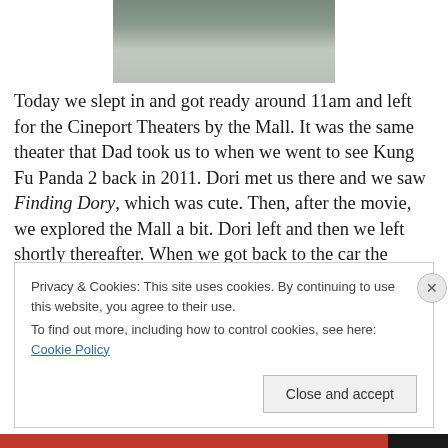[Figure (photo): Close-up photo showing feet/ankles with colorful socks/sandals on a gray concrete surface]
Today we slept in and got ready around 11am and left for the Cineport Theaters by the Mall.  It was the same theater that Dad took us to when we went to see Kung Fu Panda 2 back in 2011.  Dori met us there and we saw Finding Dory, which was cute.  Then, after the movie, we explored the Mall a bit. Dori left and then we left shortly thereafter.  When we got back to the car the thermometer said it was
Privacy & Cookies: This site uses cookies. By continuing to use this website, you agree to their use.
To find out more, including how to control cookies, see here: Cookie Policy